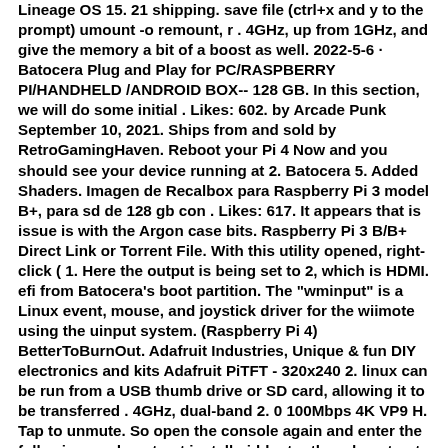Lineage OS 15. 21 shipping. save file (ctrl+x and y to the prompt) umount -o remount, r . 4GHz, up from 1GHz, and give the memory a bit of a boost as well. 2022-5-6 · Batocera Plug and Play for PC/RASPBERRY PI/HANDHELD /ANDROID BOX-- 128 GB. In this section, we will do some initial . Likes: 602. by Arcade Punk September 10, 2021. Ships from and sold by RetroGamingHaven. Reboot your Pi 4 Now and you should see your device running at 2. Batocera 5. Added Shaders. Imagen de Recalbox para Raspberry Pi 3 model B+, para sd de 128 gb con . Likes: 617. It appears that is issue is with the Argon case bits. Raspberry Pi 3 B/B+ Direct Link or Torrent File. With this utility opened, right-click ( 1. Here the output is being set to 2, which is HDMI. efi from Batocera's boot partition. The "wminput" is a Linux event, mouse, and joystick driver for the wiimote using the uinput system. (Raspberry Pi 4) BetterToBurnOut. Adafruit Industries, Unique & fun DIY electronics and kits Adafruit PiTFT - 320x240 2. linux can be run from a USB thumb drive or SD card, allowing it to be transferred . 4GHz, dual-band 2. 0 100Mbps 4K VP9 H. Tap to unmute. So open the console again and enter the following: sudo apt-get install pi-bluetooth sudo apt-get install bluetooth bluez blueman. 2 to M2 NVME/SATA SSD Enclosure*. FIDECO M207CPS USB3. A selection of Batocera-compatible themes can be installed through the menu UPDATES & DOWNLOADS → THEMES . 147GHz| sudo